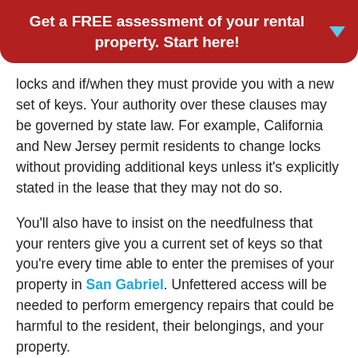Get a FREE assessment of your rental property. Start here!
locks and if/when they must provide you with a new set of keys. Your authority over these clauses may be governed by state law. For example, California and New Jersey permit residents to change locks without providing additional keys unless it's explicitly stated in the lease that they may not do so.
You'll also have to insist on the needfulness that your renters give you a current set of keys so that you're every time able to enter the premises of your property in San Gabriel. Unfettered access will be needed to perform emergency repairs that could be harmful to the resident, their belongings, and your property.
The sum and substance of it all? Your charge as the landlord is to give working locks and keys when a tenant moves in.